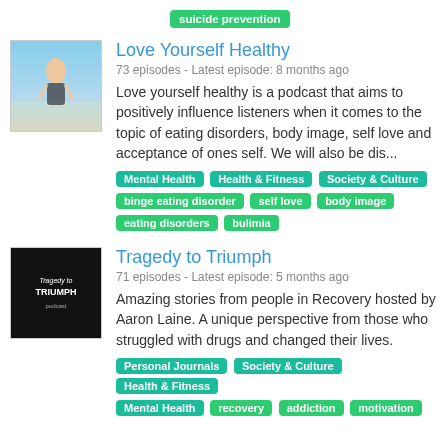suicide prevention
Love Yourself Healthy
73 episodes - Latest episode: 8 months ago
Love yourself healthy is a podcast that aims to positively influence listeners when it comes to the topic of eating disorders, body image, self love and acceptance of ones self. We will also be dis...
Mental Health | Health & Fitness | Society & Culture | binge eating disorder | self love | body image | eating disorders | bulimia
Tragedy to Triumph
71 episodes - Latest episode: 5 months ago
Amazing stories from people in Recovery hosted by Aaron Laine. A unique perspective from those who struggled with drugs and changed their lives.
Personal Journals | Society & Culture | Health & Fitness | Mental Health | recovery | addiction | motivation